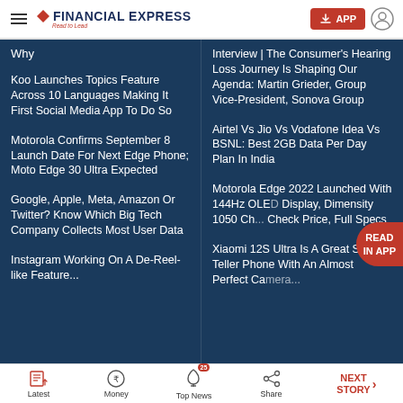FINANCIAL EXPRESS — Read to Lead
Why
Koo Launches Topics Feature Across 10 Languages Making It First Social Media App To Do So
Interview | The Consumer's Hearing Loss Journey Is Shaping Our Agenda: Martin Grieder, Group Vice-President, Sonova Group
Motorola Confirms September 8 Launch Date For Next Edge Phone; Moto Edge 30 Ultra Expected
Airtel Vs Jio Vs Vodafone Idea Vs BSNL: Best 2GB Data Per Day Plan In India
Google, Apple, Meta, Amazon Or Twitter? Know Which Big Tech Company Collects Most User Data
Motorola Edge 2022 Launched With 144Hz OLED Display, Dimensity 1050 Ch... Check Price, Full Specs
Instagram Working On A De-Reel-like Feature...
Xiaomi 12S Ultra Is A Great Story-Teller Phone With An Almost Perfect Camera...
Latest | Money | Top News (25) | Share | NEXT STORY